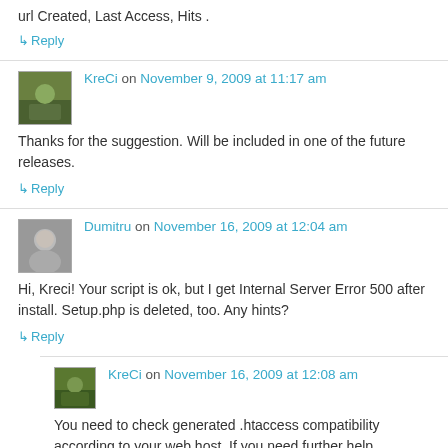url Created, Last Access, Hits .
↳ Reply
KreCi on November 9, 2009 at 11:17 am
Thanks for the suggestion. Will be included in one of the future releases.
↳ Reply
Dumitru on November 16, 2009 at 12:04 am
Hi, Kreci! Your script is ok, but I get Internal Server Error 500 after install. Setup.php is deleted, too. Any hints?
↳ Reply
KreCi on November 16, 2009 at 12:08 am
You need to check generated .htaccess compatibility according to your web host. If you need further help